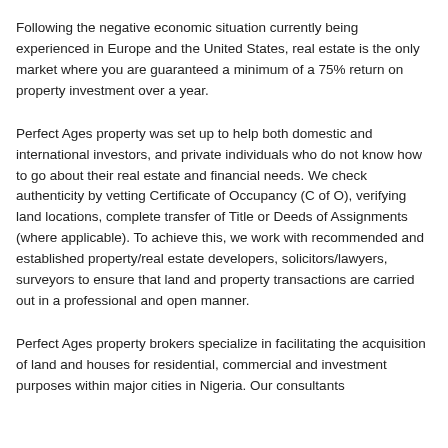Following the negative economic situation currently being experienced in Europe and the United States, real estate is the only market where you are guaranteed a minimum of a 75% return on property investment over a year.
Perfect Ages property was set up to help both domestic and international investors, and private individuals who do not know how to go about their real estate and financial needs. We check authenticity by vetting Certificate of Occupancy (C of O), verifying land locations, complete transfer of Title or Deeds of Assignments (where applicable). To achieve this, we work with recommended and established property/real estate developers, solicitors/lawyers, surveyors to ensure that land and property transactions are carried out in a professional and open manner.
Perfect Ages property brokers specialize in facilitating the acquisition of land and houses for residential, commercial and investment purposes within major cities in Nigeria. Our consultants